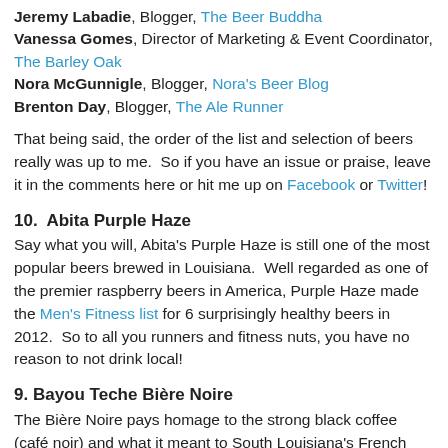Jeremy Labadie, Blogger, The Beer Buddha
Vanessa Gomes, Director of Marketing & Event Coordinator, The Barley Oak
Nora McGunnigle, Blogger, Nora's Beer Blog
Brenton Day, Blogger, The Ale Runner
That being said, the order of the list and selection of beers really was up to me.  So if you have an issue or praise, leave it in the comments here or hit me up on Facebook or Twitter!
10.  Abita Purple Haze
Say what you will, Abita's Purple Haze is still one of the most popular beers brewed in Louisiana.  Well regarded as one of the premier raspberry beers in America, Purple Haze made the Men's Fitness list for 6 surprisingly healthy beers in 2012.  So to all you runners and fitness nuts, you have no reason to not drink local!
9. Bayou Teche Bière Noire
The Bière Noire pays homage to the strong black coffee (café noir) and what it meant to South Louisiana's French